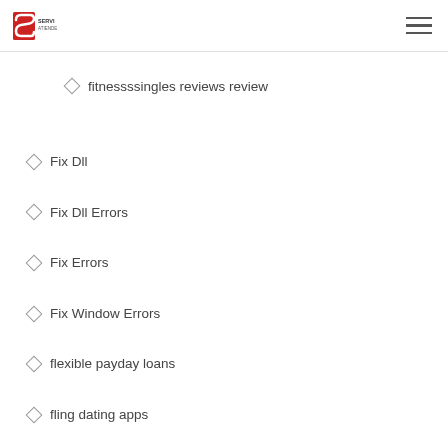Servi Atiende
fitnessssingles reviews reddit
fitnessssingles reviews review
Fix Dll
Fix Dll Errors
Fix Errors
Fix Window Errors
flexible payday loans
fling dating apps
fling free trial
fling visitors
flingster review
Flirt dating site
flirt hookup apps
flirt how does work
Flirt reviews
flirt reviews free trial
flirt reviews review
flirt reviews reviews